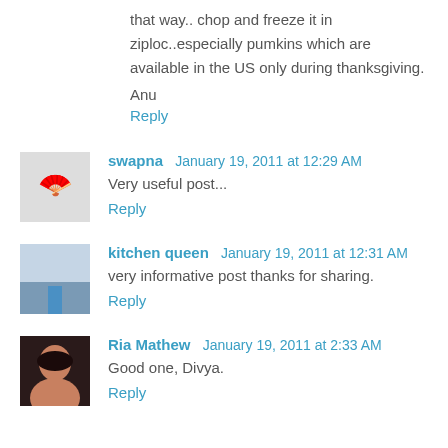that way.. chop and freeze it in ziploc..especially pumkins which are available in the US only during thanksgiving.
Anu
Reply
swapna  January 19, 2011 at 12:29 AM
Very useful post...
Reply
kitchen queen  January 19, 2011 at 12:31 AM
very informative post thanks for sharing.
Reply
Ria Mathew  January 19, 2011 at 2:33 AM
Good one, Divya.
Reply